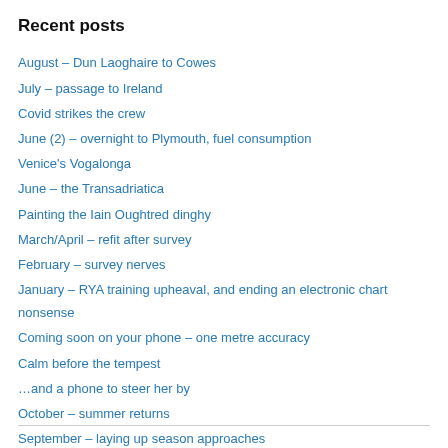Recent posts
August – Dun Laoghaire to Cowes
July – passage to Ireland
Covid strikes the crew
June (2) – overnight to Plymouth, fuel consumption
Venice's Vogalonga
June – the Transadriatica
Painting the Iain Oughtred dinghy
March/April – refit after survey
February – survey nerves
January – RYA training upheaval, and ending an electronic chart nonsense
Coming soon on your phone – one metre accuracy
Calm before the tempest
…and a phone to steer her by
October – summer returns
September – laying up season approaches